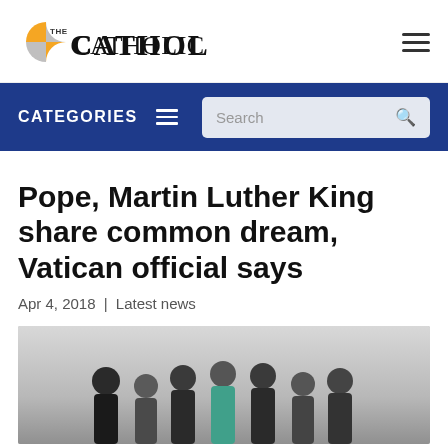The Catholic Sun
CATEGORIES
Pope, Martin Luther King share common dream, Vatican official says
Apr 4, 2018 | Latest news
[Figure (photo): Group of people walking together outdoors, a diverse group of roughly 6-7 individuals including adults and youth, photographed from waist up against a light background.]